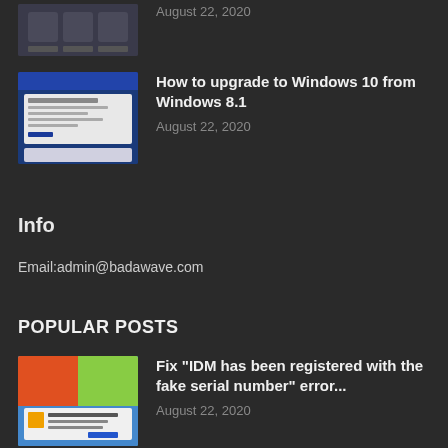[Figure (screenshot): Thumbnail screenshot with icons on dark background]
August 22, 2020
[Figure (screenshot): Windows upgrade dialog screenshot with blue background]
How to upgrade to Windows 10 from Windows 8.1
August 22, 2020
Info
Email:admin@badawave.com
POPULAR POSTS
[Figure (screenshot): IDM serial number error screenshot with Windows XP background]
Fix “IDM has been registered with the fake serial number” error...
August 22, 2020
[Figure (screenshot): Folder background color change screenshot]
How to change folder background color in